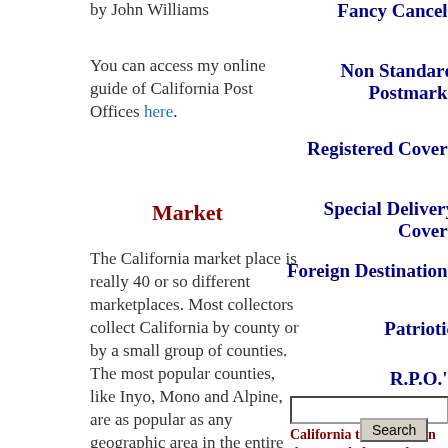by John Williams
You can access my online guide of California Post Offices here.
Market
The California market place is really 40 or so different marketplaces. Most collectors collect California by county or by a small group of counties. The most popular counties, like Inyo, Mono and Alpine, are as popular as any geographic area in the entire country. Some of
Fancy Cancels
Non Standard Postmarks
Registered Covers
Special Delivery Covers
Foreign Destinations
Patriotic
R.P.O.'s
Search for a specific California town. Type in the name below and press enter or click on search